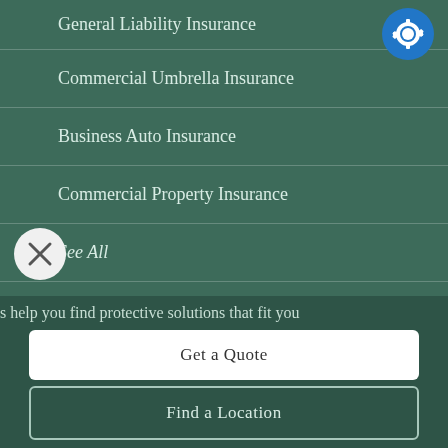General Liability Insurance
Commercial Umbrella Insurance
Business Auto Insurance
Commercial Property Insurance
See All
Employee Benefits
s help you find protective solutions that fit you
Get a Quote
Find a Location